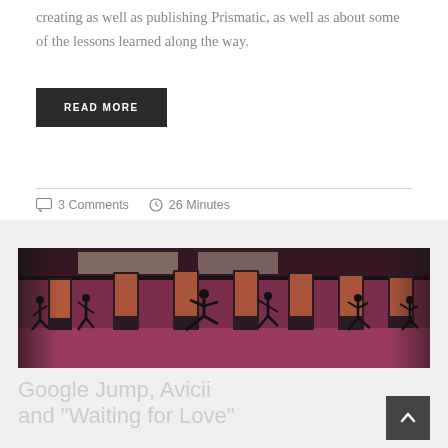creating as well as publishing Prismatic, as well as about some of the lessons learned along the way.
READ MORE
3 Comments   26 Minutes
[Figure (photo): Wide panoramic photo of dancers performing in a large indoor space with pink/magenta floor, multiple tall rectangular display screens, and dark structural beams overhead. Several dancers in dynamic poses are spread across the frame.]
Google Jump, Avicii and "Waiting for Love"